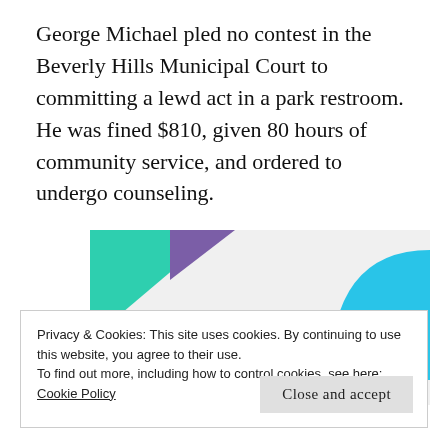George Michael pled no contest in the Beverly Hills Municipal Court to committing a lewd act in a park restroom. He was fined $810, given 80 hours of community service, and ordered to undergo counseling.
[Figure (infographic): Advertisement banner with green triangle and blue arc shapes on light gray background with bold text 'How to start selling subscriptions online']
Privacy & Cookies: This site uses cookies. By continuing to use this website, you agree to their use.
To find out more, including how to control cookies, see here:
Cookie Policy